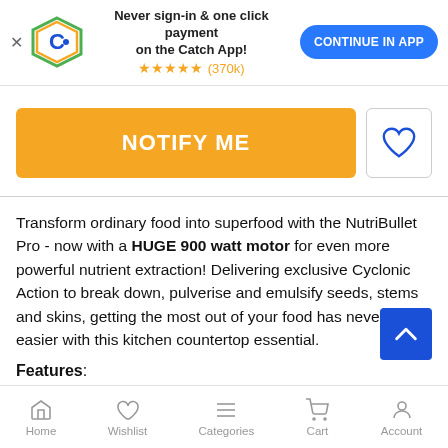[Figure (screenshot): App banner with Catch logo, 'Never sign-in & one click payment on the Catch App!' text, star rating (370k), and CONTINUE IN APP button]
[Figure (screenshot): NOTIFY ME orange button and heart wishlist icon button]
Transform ordinary food into superfood with the NutriBullet Pro - now with a HUGE 900 watt motor for even more powerful nutrient extraction! Delivering exclusive Cyclonic Action to break down, pulverise and emulsify seeds, stems and skins, getting the most out of your food has never been easier with this kitchen countertop essential.
Features:
Home | Wishlist | Categories | Cart | Account